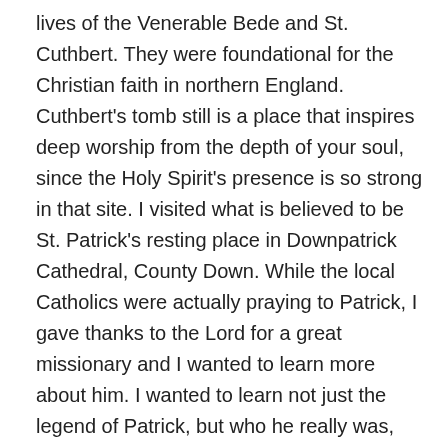lives of the Venerable Bede and St. Cuthbert. They were foundational for the Christian faith in northern England. Cuthbert's tomb still is a place that inspires deep worship from the depth of your soul, since the Holy Spirit's presence is so strong in that site. I visited what is believed to be St. Patrick's resting place in Downpatrick Cathedral, County Down. While the local Catholics were actually praying to Patrick, I gave thanks to the Lord for a great missionary and I wanted to learn more about him. I wanted to learn not just the legend of Patrick, but who he really was, how he depended on the Lord, and how I could grow in my faith because of his example. I have always loved church history, and at one time wanted to take a doctorate in the discipline. I especially focused on the history of missions, renewals and movements for God. We can learn a lot from those who have gone before us, those